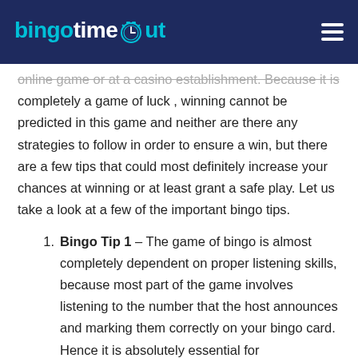bingotimeout
online game or at a casino establishment. Because it is completely a game of luck , winning cannot be predicted in this game and neither are there any strategies to follow in order to ensure a win, but there are a few tips that could most definitely increase your chances at winning or at least grant a safe play. Let us take a look at a few of the important bingo tips.
Bingo Tip 1 – The game of bingo is almost completely dependent on proper listening skills, because most part of the game involves listening to the number that the host announces and marking them correctly on your bingo card. Hence it is absolutely essential for